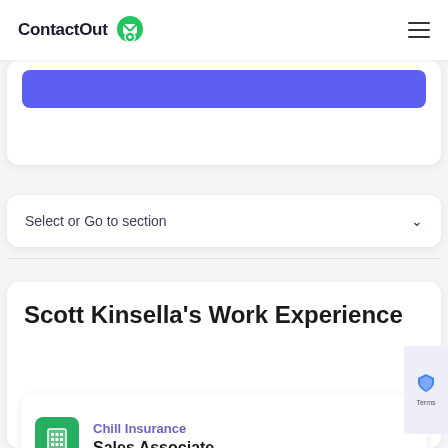ContactOut
[Figure (screenshot): Purple button partially visible inside a white rounded card]
Select or Go to section
Scott Kinsella's Work Experience
Chill Insurance
Sales Associate